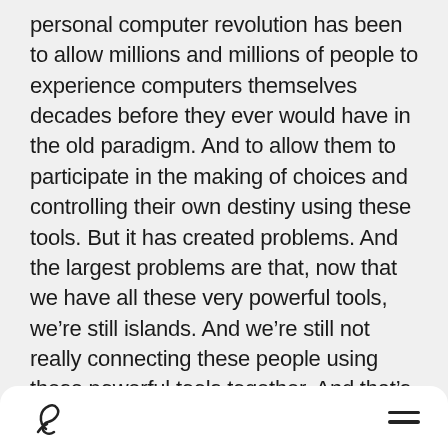personal computer revolution has been to allow millions and millions of people to experience computers themselves decades before they ever would have in the old paradigm. And to allow them to participate in the making of choices and controlling their own destiny using these tools. But it has created problems. And the largest problems are that, now that we have all these very powerful tools, we're still islands. And we're still not really connecting these people using these powerful tools together. And that's really been the challenge of the last few years and the next several years: is how to connect these things back together so that we can rebuild a fabric of these things, rather than just individual points of light if you will. And get the benefit of both the passenger train and the automobile.